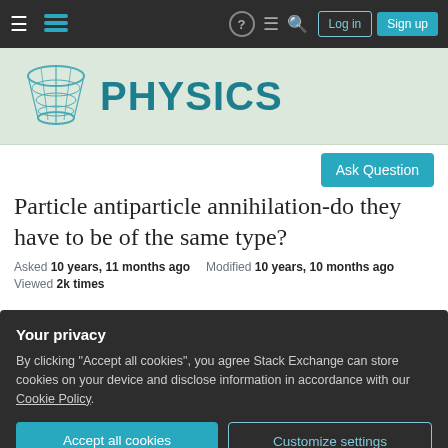= [Stack Exchange logo] ? [chat] [search] Log in Sign up
[Figure (logo): Physics Stack Exchange logo with teal hourglass/cone shape and PHYSICS text]
Ask Question
Particle antiparticle annihilation-do they have to be of the same type?
Asked 10 years, 11 months ago   Modified 10 years, 10 months ago
Viewed 2k times
Your privacy
By clicking "Accept all cookies", you agree Stack Exchange can store cookies on your device and disclose information in accordance with our Cookie Policy.
Accept all cookies   Customize settings
a positron? Are there any rules to determine what